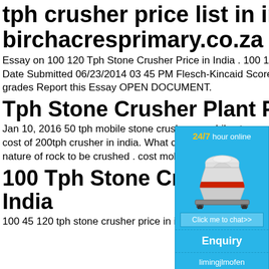tph crusher price list in india - birchacresprimary.co.za
Essay on 100 120 Tph Stone Crusher Price in India . 100 120 Tph Stone Crusher Price in India. Date Submitted 06/23/2014 03 45 PM Flesch-Kincaid Score 44.7 Words 913 Essay Grade no grades Report this Essay OPEN DOCUMENT.
Tph Stone Crusher Plant Price In India
Jan 10, 2016 50 tph mobile stone crusher p mobile stone crusher 20 Crusher News. co price. cost of 200tph crusher in india. What crushers in india. Well it all depends on you quantity nature of rock to be crushed . cost mobile crusher plant in india.
[Figure (infographic): Chat widget overlay showing '24/7 hour online' text in yellow/white, an image of a stone crusher machine, a 'Click me to chat>>' button, an 'Enquiry' section, and 'limingjlmofen' username text on a blue background.]
100 Tph Stone Crusher Manufacturer In India
100 45 120 tph stone crusher price in india r-